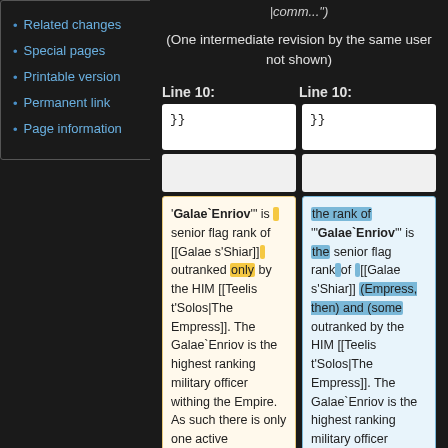Related changes
Special pages
Printable version
Permanent link
Page information
|comm...")
(One intermediate revision by the same user not shown)
Line 10:
Line 10:
}}
}}
'"Galae`Enriov'" is the senior flag rank of [[Galae s'Shiar]] outranked only by the HIM [[Teelis t'Solos|The Empress]]. The Galae`Enriov is the highest ranking military officer withing the Empire. As such there is only one active Galae`Enriov at
the rank of '"Galae`Enriov'" is the senior flag rank of [[Galae s'Shiar]] (Empress, then) and (some outranked by the HIM [[Teelis t'Solos|The Empress]]. The Galae`Enriov is the highest ranking military officer withing the Empire.